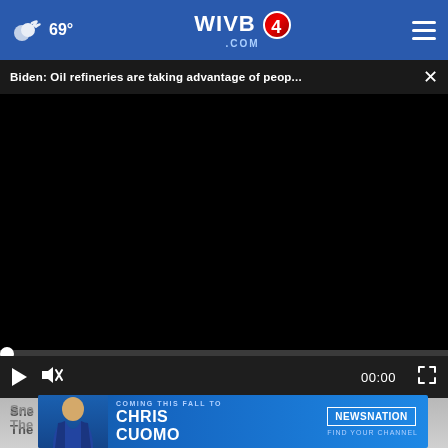☁ 69° WIVB4.COM
Biden: Oil refineries are taking advantage of peop...
[Figure (screenshot): Black video player window with playback controls showing 00:00 timecode, play button, mute button, and fullscreen button on dark control bar]
[Figure (photo): Thumbnail strip of news story image showing hands/documents]
[Figure (infographic): Ad banner: Chris Cuomo Coming This Fall to NewsNation - Find Your Channel, with photo of Chris Cuomo in suit]
Sne... The...